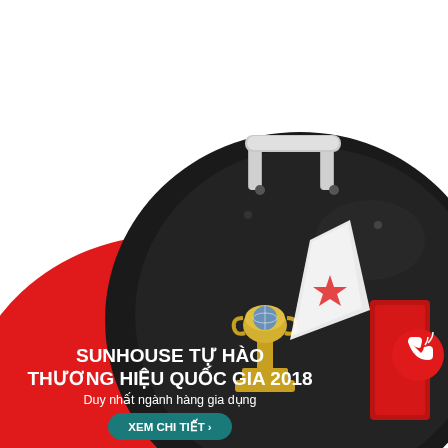reasonable depth to provide a great solution for frying, stir frying and making pancakes for family. The wok is durable and suitable for both restaurants, eateries...
[Figure (photo): Product photo of a large black wok with a stainless steel handle, overlaid on a red circular background with a trophy award. Text reads: SUNHOUSE TỰ HÀO THƯƠNG HIỆU QUỐC GIA 2018, Duy nhất ngành hàng gia dụng, with a teal 'XEM CHI TIẾT >' button. A red phone icon is visible at right.]